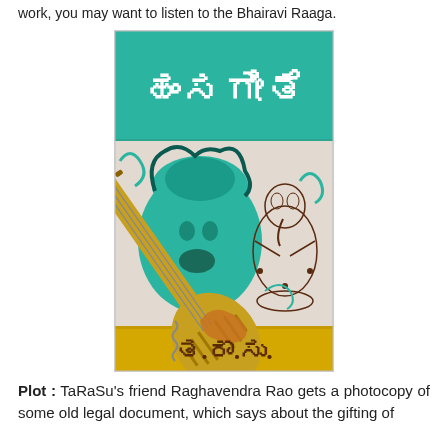work, you may want to listen to the Bhairavi Raaga.
[Figure (illustration): Book cover of a Kannada novel featuring illustrated art of a musician playing a veena, with Kannada script title at the top and author initials at the bottom. Teal, yellow, and brown color scheme with decorative swirls and a deity figure.]
Plot : TaRaSu's friend Raghavendra Rao gets a photocopy of some old legal document, which says about the gifting of